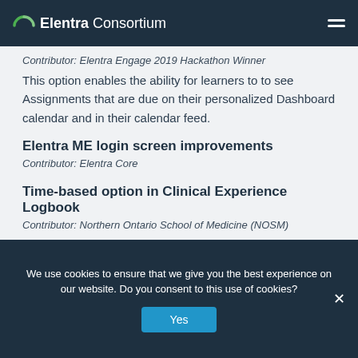Elentra Consortium
Contributor: Elentra Engage 2019 Hackathon Winner
This option enables the ability for learners to to see Assignments that are due on their personalized Dashboard calendar and in their calendar feed.
Elentra ME login screen improvements
Contributor: Elentra Core
Time-based option in Clinical Experience Logbook
Contributor: Northern Ontario School of Medicine (NOSM)
We use cookies to ensure that we give you the best experience on our website. Do you consent to this use of cookies?